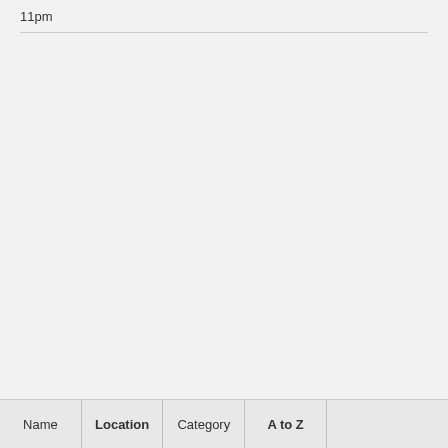11pm
| Name | Location | Category | A to Z |  |
| --- | --- | --- | --- | --- |